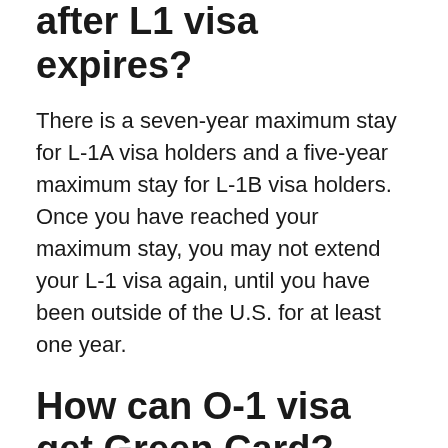after L1 visa expires?
There is a seven-year maximum stay for L-1A visa holders and a five-year maximum stay for L-1B visa holders. Once you have reached your maximum stay, you may not extend your L-1 visa again, until you have been outside of the U.S. for at least one year.
How can O-1 visa get Green Card?
How to go from O-1 visa to Green Card. Unlike most temporary US work visas, the O-1 visa offers holders a path to a Green Card. You can do this by making an application to change your status from O-1 to permanent resident, provided you meet the Green Card